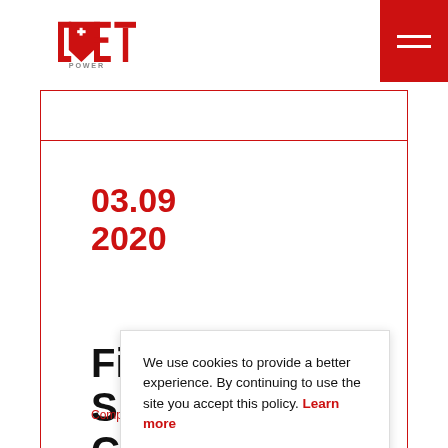[Figure (logo): CE+T Power logo with red shield shape and text]
03.09
2020
Fi...
Su...
Co...
Company...
We use cookies to provide a better experience. By continuing to use the site you accept this policy. Learn more
I agree